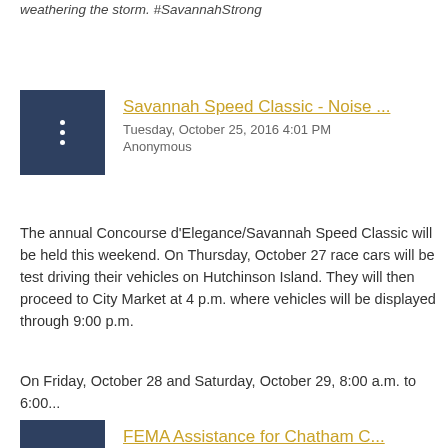weathering the storm. #SavannahStrong
Savannah Speed Classic - Noise ...
Tuesday, October 25, 2016 4:01 PM
Anonymous
The annual Concourse d'Elegance/Savannah Speed Classic will be held this weekend. On Thursday, October 27 race cars will be test driving their vehicles on Hutchinson Island. They will then proceed to City Market at 4 p.m. where vehicles will be displayed through 9:00 p.m.
On Friday, October 28 and Saturday, October 29, 8:00 a.m. to 6:00...
FEMA Assistance for Chatham C...
Wednesday, October 19, 2016 7:00 PM
Anonymous
FEMA ASSISTANCE